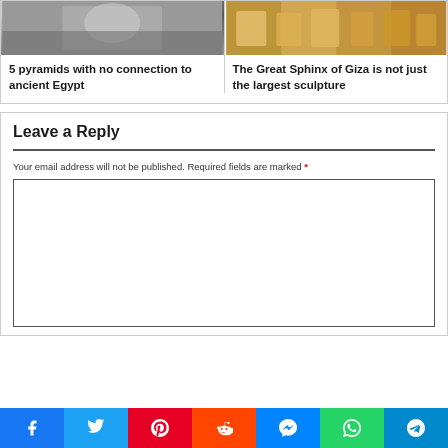[Figure (photo): Grayscale photo (upper left card image)]
5 pyramids with no connection to ancient Egypt
[Figure (photo): Color photo of wooden/stone sculptures (upper right card image)]
The Great Sphinx of Giza is not just the largest sculpture
Leave a Reply
Your email address will not be published. Required fields are marked *
[Figure (screenshot): Empty comment text area box]
[Figure (infographic): Social share bar with Facebook, Twitter, Pinterest, Reddit, Messenger, WhatsApp, Telegram buttons]